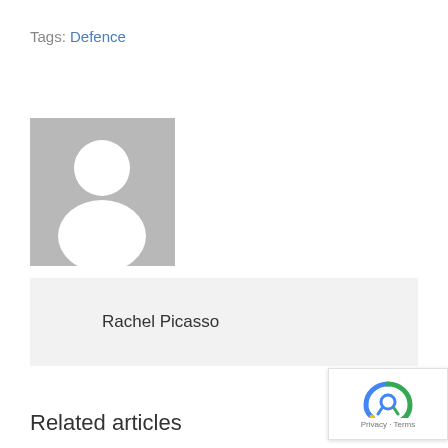Tags: Defence
[Figure (photo): Default user profile placeholder image — grey square with white silhouette of a person (head and shoulders)]
Rachel Picasso
[Figure (other): Google reCAPTCHA badge with Privacy and Terms links]
Related articles